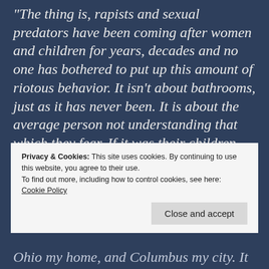“The thing is, rapists and sexual predators have been coming after women and children for years, decades and no one has bothered to put up this amount of riotous behavior. It isn’t about bathrooms, just as it has never been. It is about the average person not understanding that which they fear. If it was their children, their siblings,
Privacy & Cookies: This site uses cookies. By continuing to use this website, you agree to their use.
To find out more, including how to control cookies, see here:
Cookie Policy
Close and accept
Ohio my home, and Columbus my city. It